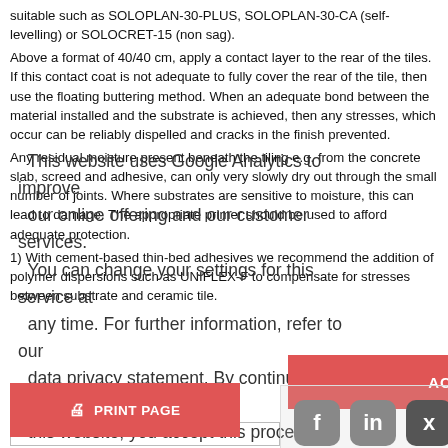suitable such as SOLOPLAN-30-PLUS, SOLOPLAN-30-CA (self-levelling) or SOLOCRET-15 (non sag). Above a format of 40/40 cm, apply a contact layer to the rear of the tiles. If this contact coat is not adequate to fully cover the rear of the tile, then use the floating buttering method. When an adequate bond between the material installed and the substrate is achieved, then any stresses, which occur can be reliably dispelled and cracks in the finish prevented.
Any residual moisture present beneath the tiling e.g. from the concrete slab, screed and adhesive, can only very slowly dry out through the small number of joints. Where substrates are sensitive to moisture, this can lead to damage. The appropriate primer should be used to afford adequate protection.
1) With cement-based thin-bed adhesives we recommend the addition of polymer dispersions such as UNIFLEX-F to compensate for stresses between substrate and ceramic tile.
This website uses Google Analytics to improve our online offering and our customer services. You can change your settings for this service at any time. For further information, refer to our data privacy statement. By continuing to use this website, you accept this procedure.